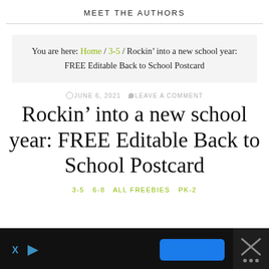MEET THE AUTHORS
You are here: Home / 3-5 / Rockin’ into a new school year: FREE Editable Back to School Postcard
©JUNE 6, 2021  ♥LEAVE A COMMENT
Rockin’ into a new school year: FREE Editable Back to School Postcard
3-5  6-8  ALL FREEBIES  PK-2
[Figure (other): Advertisement bar at the bottom with dark background, blue button, X and play icons on left, and close/X button on right]